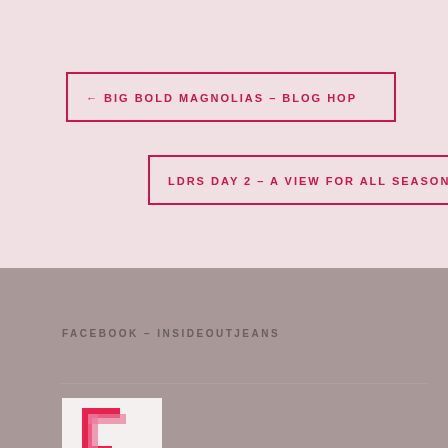← BIG BOLD MAGNOLIAS – BLOG HOP
LDRS DAY 2 – A VIEW FOR ALL SEASONS →
FACEBOOK – INSIDEOUTJEANS
[Figure (logo): Facebook logo icon in pink/red tones on white background]